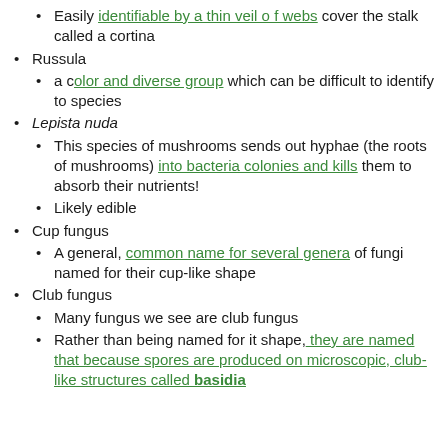Easily identifiable by a thin veil of webs cover the stalk called a cortina
Russula
a color and diverse group which can be difficult to identify to species
Lepista nuda
This species of mushrooms sends out hyphae (the roots of mushrooms) into bacteria colonies and kills them to absorb their nutrients!
Likely edible
Cup fungus
A general, common name for several genera of fungi named for their cup-like shape
Club fungus
Many fungus we see are club fungus
Rather than being named for it shape, they are named that because spores are produced on microscopic, club-like structures called basidia